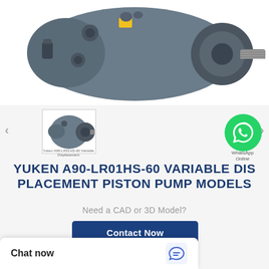[Figure (photo): Yuken A90-LR01HS-60 variable displacement piston pump, grey metal hydraulic pump with shaft and mounting flange visible]
[Figure (photo): Small thumbnail of the same Yuken piston pump product image]
[Figure (illustration): WhatsApp green logo circle with phone icon, labeled WhatsApp Online]
YUKEN A90-LR01HS-60 VARIABLE DIS PLACEMENT PISTON PUMP MODELS
Need a CAD or 3D Model?
Contact Now
WhatsApp
Chat now